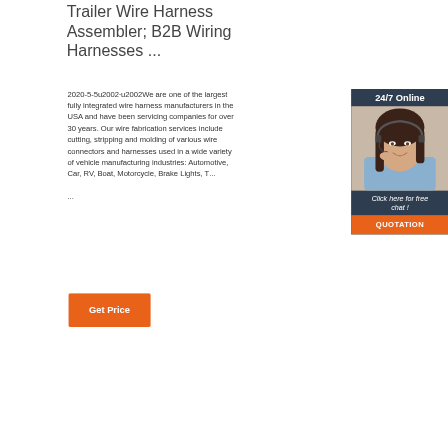Trailer Wire Harness Assembler; B2B Wiring Harnesses ...
2020-5-5u2002·u2002We are one of the largest fully integrated wire harness manufacturers in the USA and have been servicing companies for over 30 years. Our wire fabrication services include cutting, stripping and molding of various wire connectors and harnesses used in a wide variety of vehicle manufacturing industries: Automotive, Car, RV, Boat, Motorcycle, Brake Lights, T... ...
[Figure (photo): Woman with headset smiling, customer service representative photo with '24/7 Online' header and 'Click here for free chat!' text and 'QUOTATION' orange button on dark navy background sidebar widget]
Get Price